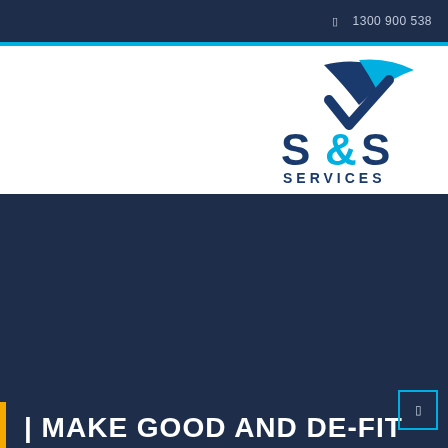1300 900 538
[Figure (logo): S&S Services logo with checkmark swoosh in blue and cyan, with 'S&S' in dark blue and cyan lettering and 'SERVICES' in dark blue capital letters below]
MAKE GOOD AND DE-FIT